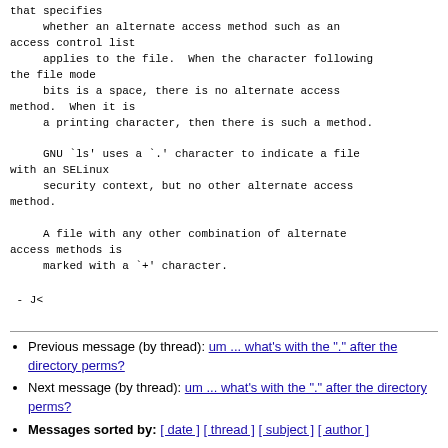that specifies
     whether an alternate access method such as an access control list
     applies to the file.  When the character following the file mode
     bits is a space, there is no alternate access method.  When it is
     a printing character, then there is such a method.

     GNU `ls' uses a `.' character to indicate a file with an SELinux
     security context, but no other alternate access method.

     A file with any other combination of alternate access methods is
     marked with a `+' character.
- J<
Previous message (by thread): um ... what's with the "." after the directory perms?
Next message (by thread): um ... what's with the "." after the directory perms?
Messages sorted by: [ date ] [ thread ] [ subject ] [ author ]